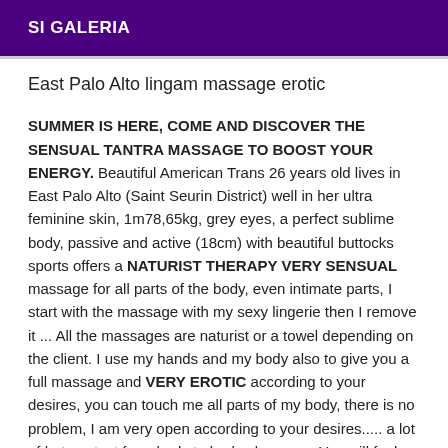SI GALERIA
East Palo Alto lingam massage erotic
SUMMER IS HERE, COME AND DISCOVER THE SENSUAL TANTRA MASSAGE TO BOOST YOUR ENERGY. Beautiful American Trans 26 years old lives in East Palo Alto (Saint Seurin District) well in her ultra feminine skin, 1m78,65kg, grey eyes, a perfect sublime body, passive and active (18cm) with beautiful buttocks sports offers a NATURIST THERAPY VERY SENSUAL massage for all parts of the body, even intimate parts, I start with the massage with my sexy lingerie then I remove it ... All the massages are naturist or a towel depending on the client. I use my hands and my body also to give you a full massage and VERY EROTIC according to your desires, you can touch me all parts of my body, there is no problem, I am very open according to your desires..... a lot of hot contact from body to body also sex. - You will feel both rested and excited during